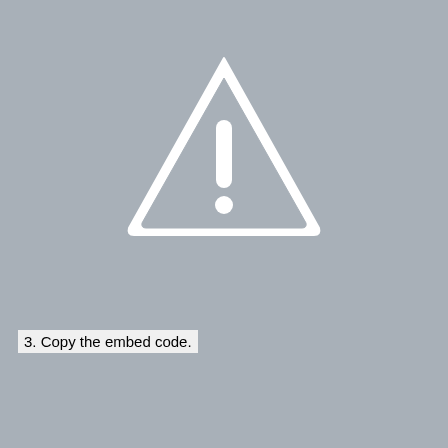[Figure (illustration): Warning/caution triangle icon with exclamation mark in white on gray background, centered in upper portion of page]
3. Copy the embed code.